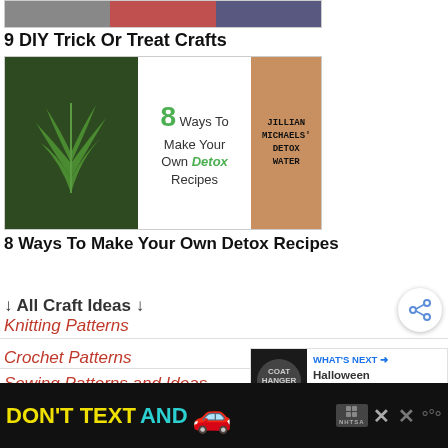[Figure (photo): Collage strip of Halloween craft photos at top of page]
9 DIY Trick Or Treat Crafts
[Figure (photo): Composite image: green plant on left, '8 Ways To Make Your Own Detox Recipes' text in center, Jillian Michaels' Detox Water bottle on right]
8 Ways To Make Your Own Detox Recipes
↓ All Craft Ideas ↓
Knitting Patterns
Crochet Patterns
Sewing Patterns and Ideas
[Figure (infographic): WHAT'S NEXT arrow with Halloween Coat Hanger Wreath thumbnail]
[Figure (infographic): Advertisement banner: DON'T TEXT AND (car emoji) with NHTSA branding and close buttons]